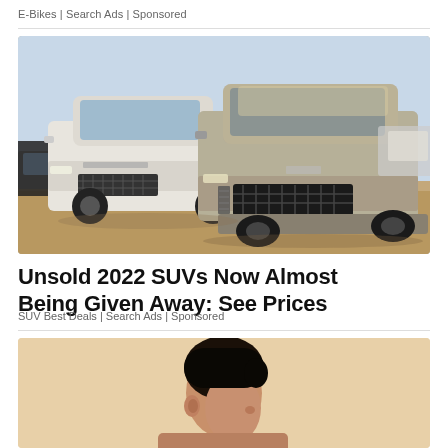E-Bikes | Search Ads | Sponsored
[Figure (photo): Two dusty Range Rover SUVs parked in a lot, covered in sand/dust, photographed in a sunny outdoor setting]
Unsold 2022 SUVs Now Almost Being Given Away: See Prices
SUV Best Deals | Search Ads | Sponsored
[Figure (photo): Partial view of a woman's face/profile with dark hair pulled back, on a light peach/tan background]